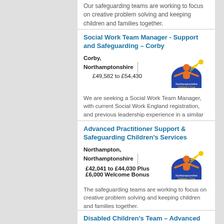Our safeguarding teams are working to focus on creative problem solving and keeping children and families together.
Social Work Team Manager - Support and Safeguarding – Corby
Corby, Northamptonshire | £49,582 to £54,430
[Figure (logo): Northamptonshire Children's Trust logo — orange figure with arms raised inside a blue semicircle, with yellow shooting star]
We are seeking a Social Work Team Manager, with current Social Work England registration, and previous leadership experience in a similar role.
Advanced Practitioner Support & Safeguarding Children's Services
Northampton, Northamptonshire | £42,041 to £44,030 Plus £6,000 Welcome Bonus
[Figure (logo): Northamptonshire Children's Trust logo — orange figure with arms raised inside a blue semicircle, with yellow shooting star]
The safeguarding teams are working to focus on creative problem solving and keeping children and families together.
Disabled Children's Team – Advanced Practitioner